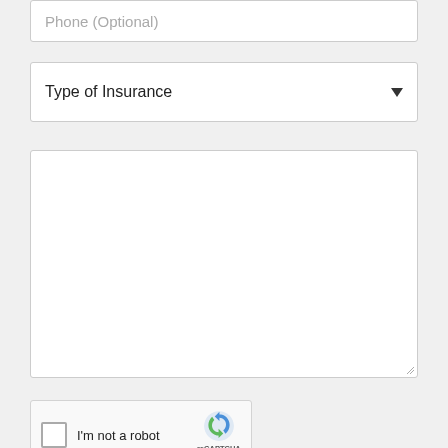Phone (Optional)
Type of Insurance
I'm not a robot